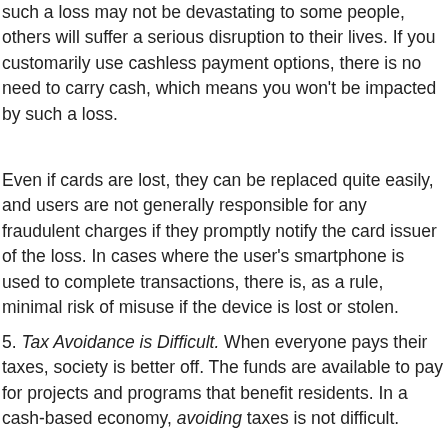such a loss may not be devastating to some people, others will suffer a serious disruption to their lives. If you customarily use cashless payment options, there is no need to carry cash, which means you won't be impacted by such a loss.
Even if cards are lost, they can be replaced quite easily, and users are not generally responsible for any fraudulent charges if they promptly notify the card issuer of the loss. In cases where the user's smartphone is used to complete transactions, there is, as a rule, minimal risk of misuse if the device is lost or stolen.
5. Tax Avoidance is Difficult. When everyone pays their taxes, society is better off. The funds are available to pay for projects and programs that benefit residents. In a cash-based economy, avoiding taxes is not difficult.